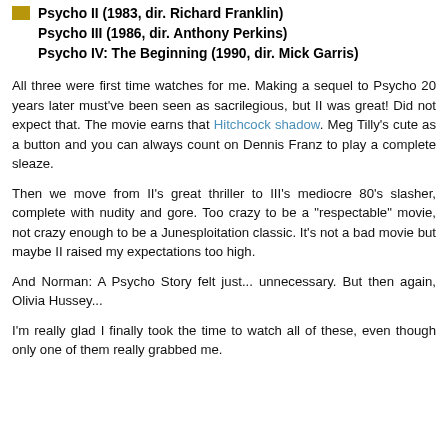Psycho II (1983, dir. Richard Franklin)
Psycho III (1986, dir. Anthony Perkins)
Psycho IV: The Beginning (1990, dir. Mick Garris)
All three were first time watches for me. Making a sequel to Psycho 20 years later must've been seen as sacrilegious, but II was great! Did not expect that. The movie earns that Hitchcock shadow. Meg Tilly's cute as a button and you can always count on Dennis Franz to play a complete sleaze.
Then we move from II's great thriller to III's mediocre 80's slasher, complete with nudity and gore. Too crazy to be a "respectable" movie, not crazy enough to be a Junesploitation classic. It's not a bad movie but maybe II raised my expectations too high.
And Norman: A Psycho Story felt just... unnecessary. But then again, Olivia Hussey...
I'm really glad I finally took the time to watch all of these, even though only one of them really grabbed me.